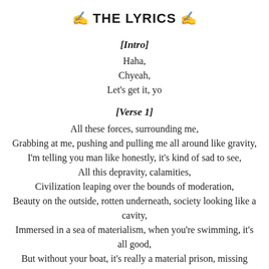✍ THE LYRICS ✍
[Intro]
Haha,
Chyeah,
Let's get it, yo
[Verse 1]
All these forces, surrounding me,
Grabbing at me, pushing and pulling me all around like gravity,
I'm telling you man like honestly, it's kind of sad to see,
All this depravity, calamities,
Civilization leaping over the bounds of moderation,
Beauty on the outside, rotten underneath, society looking like a cavity,
Immersed in a sea of materialism, when you're swimming, it's all good,
But without your boat, it's really a material prison, missing